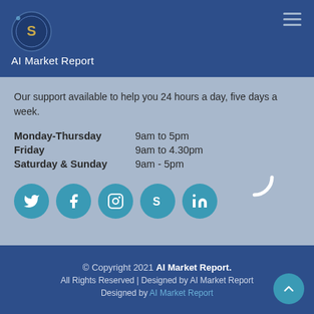AI Market Report
Our support available to help you 24 hours a day, five days a week.
| Day | Hours |
| --- | --- |
| Monday-Thursday | 9am to 5pm |
| Friday | 9am to 4.30pm |
| Saturday & Sunday | 9am - 5pm |
[Figure (infographic): Five social media icon circles: Twitter (bird), Facebook (f), Instagram, Skype (S), LinkedIn (in)]
© Copyright 2021 AI Market Report. All Rights Reserved | Designed by AI Market Report Designed by AI Market Report